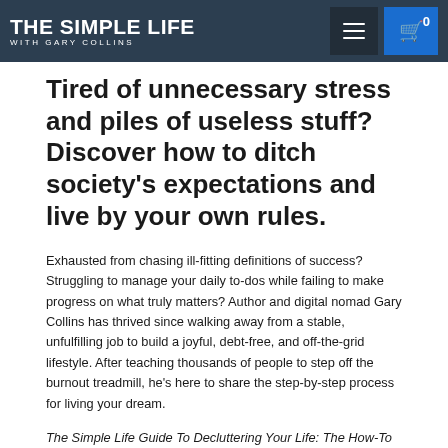Simple Life website to finish your order.
[Figure (logo): The Simple Life with Gary Collins logo in white text on dark background nav bar with hamburger menu and cart button showing 0]
Tired of unnecessary stress and piles of useless stuff? Discover how to ditch society's expectations and live by your own rules.
Exhausted from chasing ill-fitting definitions of success? Struggling to manage your daily to-dos while failing to make progress on what truly matters? Author and digital nomad Gary Collins has thrived since walking away from a stable, unfulfilling job to build a joyful, debt-free, and off-the-grid lifestyle. After teaching thousands of people to step off the burnout treadmill, he's here to share the step-by-step process for living your dream.
The Simple Life Guide To Decluttering Your Life: The How-To Book of Doing More with Less and Focusing on the Things That Matter provides realistic solutions to guide you toward a genuinely happy life. With straightforward, no-nonsense advice, Collins demonstrates how to overcome crippling frustration to reorder your priorities. The book's path